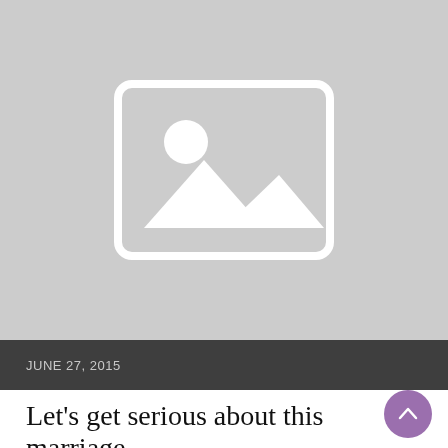[Figure (illustration): Gray placeholder image with a white image icon (mountain/landscape thumbnail placeholder) centered in a large gray rectangle.]
JUNE 27, 2015
Let’s get serious about this marriage thi…